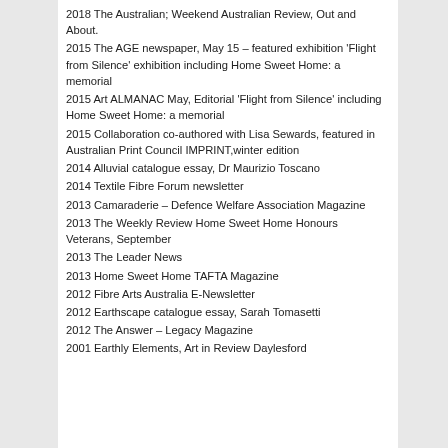2018 The Australian; Weekend Australian Review, Out and About.
2015 The AGE newspaper, May 15 – featured exhibition 'Flight from Silence' exhibition including Home Sweet Home: a memorial
2015 Art ALMANAC May, Editorial 'Flight from Silence' including Home Sweet Home: a memorial
2015 Collaboration co-authored with Lisa Sewards, featured in Australian Print Council IMPRINT,winter edition
2014 Alluvial catalogue essay, Dr Maurizio Toscano
2014 Textile Fibre Forum newsletter
2013 Camaraderie – Defence Welfare Association Magazine
2013 The Weekly Review Home Sweet Home Honours Veterans, September
2013 The Leader News
2013 Home Sweet Home TAFTA Magazine
2012 Fibre Arts Australia E-Newsletter
2012 Earthscape catalogue essay, Sarah Tomasetti
2012 The Answer – Legacy Magazine
2001 Earthly Elements, Art in Review Daylesford